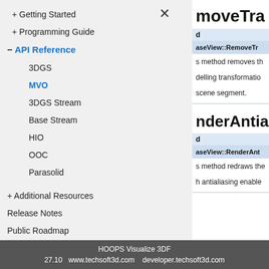+ Getting Started
+ Programming Guide
− API Reference
3DGS
MVO
3DGS Stream
Base Stream
HIO
OOC
Parasolid
+ Additional Resources
Release Notes
Public Roadmap
moveTra
d
aseView::RemoveTr
s method removes th
delling transformatio
scene segment.
nderAntia
d
aseView::RenderAnt
s method redraws the
h antialiasing enable
HOOPS Visualize 3DF
27.10   www.techsoft3d.com    developer.techsoft3d.com